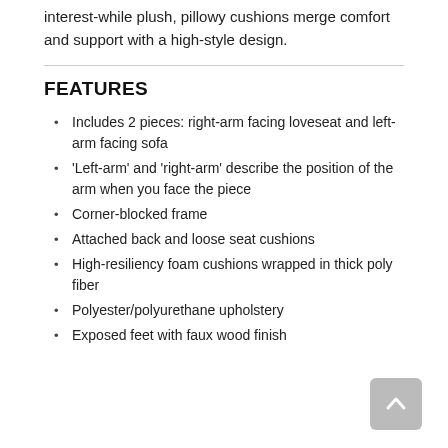interest-while plush, pillowy cushions merge comfort and support with a high-style design.
FEATURES
Includes 2 pieces: right-arm facing loveseat and left-arm facing sofa
'Left-arm' and 'right-arm' describe the position of the arm when you face the piece
Corner-blocked frame
Attached back and loose seat cushions
High-resiliency foam cushions wrapped in thick poly fiber
Polyester/polyurethane upholstery
Exposed feet with faux wood finish